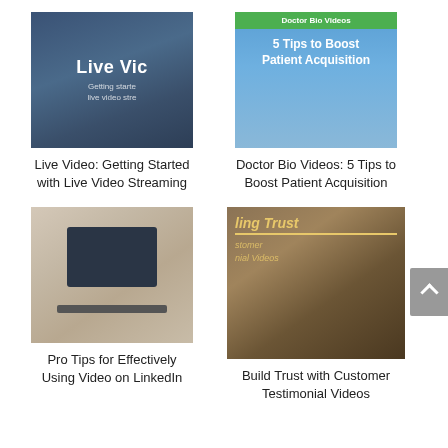[Figure (photo): Thumbnail for Live Video article – dark blue toned image with text overlay 'Live Vic / Getting starte / live video stre']
Live Video: Getting Started with Live Video Streaming
[Figure (photo): Thumbnail for Doctor Bio Videos article – blue background with green bar 'Doctor Bio Videos' and white text '5 Tips to Boost Patient Acquisition']
Doctor Bio Videos: 5 Tips to Boost Patient Acquisition
[Figure (photo): Thumbnail for LinkedIn article – person's hands on laptop keyboard]
Pro Tips for Effectively Using Video on LinkedIn
[Figure (photo): Thumbnail for Customer Testimonial Videos article – dark background with gold text 'ling Trust / stomer / nial Videos' and stacked books with pen]
Build Trust with Customer Testimonial Videos